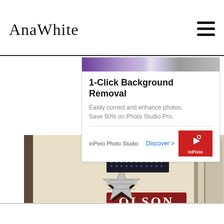AnaWhite
[Figure (screenshot): inPixio Photo Studio advertisement banner showing '1-Click Background Removal', tagline 'Easily correct and enhance photos. Save 50% on Photo Studio Pro.', with Discover link and red inPixio logo icon]
[Figure (photo): Room entryway shelf with star decorations and OLSON sign on top, three dark wicker baskets inside cubby shelf below, cream walls]